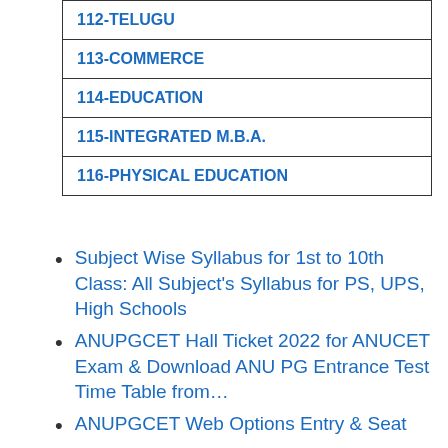| 112-TELUGU |
| 113-COMMERCE |
| 114-EDUCATION |
| 115-INTEGRATED M.B.A. |
| 116-PHYSICAL EDUCATION |
Subject Wise Syllabus for 1st to 10th Class: All Subject's Syllabus for PS, UPS, High Schools
ANUPGCET Hall Ticket 2022 for ANUCET Exam & Download ANU PG Entrance Test Time Table from…
ANUPGCET Web Options Entry & Seat